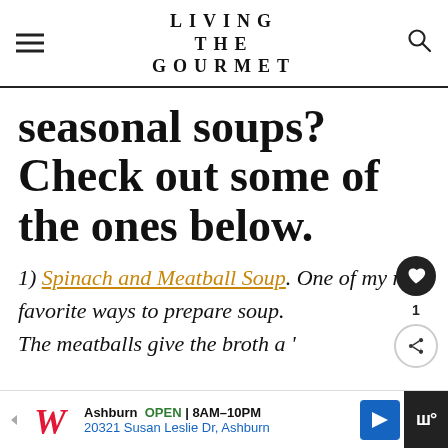LIVING THE GOURMET
seasonal soups? Check out some of the ones below.
1) Spinach and Meatball Soup. One of my new favorite ways to prepare soup. The meatballs give the broth a 'texture and 'meaty' flavor, while the
[Figure (screenshot): What's Next panel showing Apple Rhubarb Pie with thumbnail]
[Figure (screenshot): Advertisement bar: Walgreens Ashburn OPEN 8AM-10PM, 20321 Susan Leslie Dr, Ashburn]